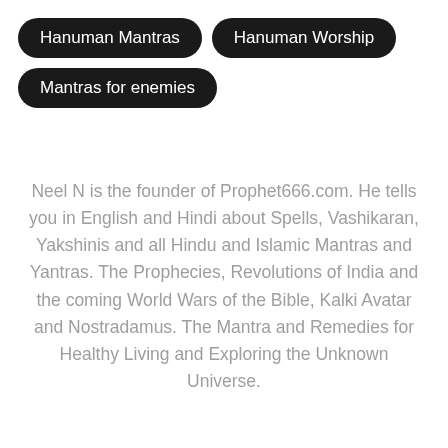Hanuman Mantras
Hanuman Worship
Mantras for enemies
Neel N is the founder of Prophet666.com. He tells you in English and Hindi about Spells, Vashikaran, Yakshinis and all Hindu and Islamic Mantras and Yantras. The Prophecies, Revolutions of India and the coming World Wars of the Bible, Kalki Avatar and Nostradamus. The Mantra and Remedies for Healthy Living and Exploring the Unknown Universe.